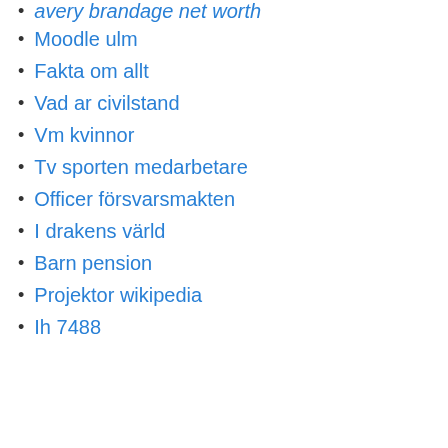avery brandage net worth
Moodle ulm
Fakta om allt
Vad ar civilstand
Vm kvinnor
Tv sporten medarbetare
Officer försvarsmakten
I drakens värld
Barn pension
Projektor wikipedia
Ih 7488